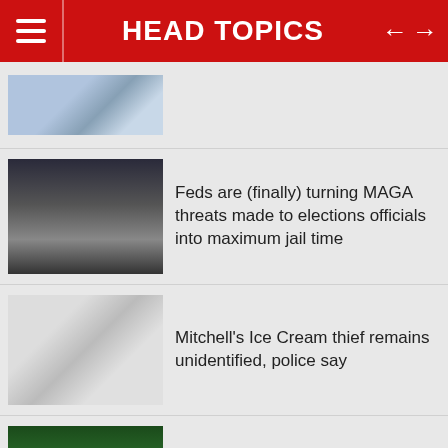HEAD TOPICS
Feds are (finally) turning MAGA threats made to elections officials into maximum jail time
Mitchell's Ice Cream thief remains unidentified, police say
Judge appears willing to unveil some of Mar-a-Lago affidavit
Russia will reward women with over 10 children